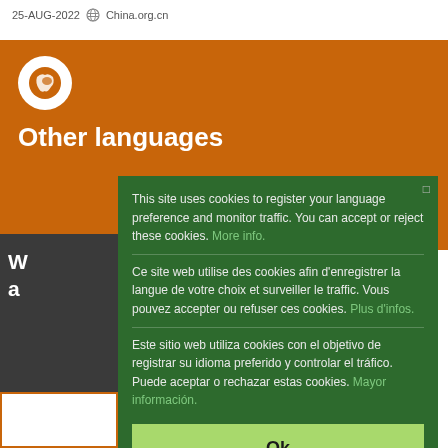25-AUG-2022  China.org.cn
Other languages
This site uses cookies to register your language preference and monitor traffic. You can accept or reject these cookies. More info.
Ce site web utilise des cookies afin d'enregistrer la langue de votre choix et surveiller le traffic. Vous pouvez accepter ou refuser ces cookies. Plus d'infos.
Este sitio web utiliza cookies con el objetivo de registrar su idioma preferido y controlar el tráfico. Puede aceptar o rechazar estas cookies. Mayor información.
Ok